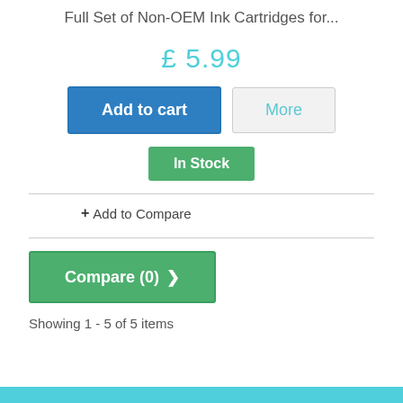Full Set of Non-OEM Ink Cartridges for...
£ 5.99
Add to cart | More
In Stock
+ Add to Compare
Compare (0) >
Showing 1 - 5 of 5 items